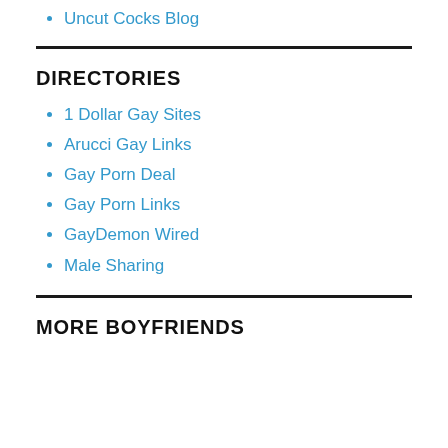Uncut Cocks Blog
DIRECTORIES
1 Dollar Gay Sites
Arucci Gay Links
Gay Porn Deal
Gay Porn Links
GayDemon Wired
Male Sharing
MORE BOYFRIENDS